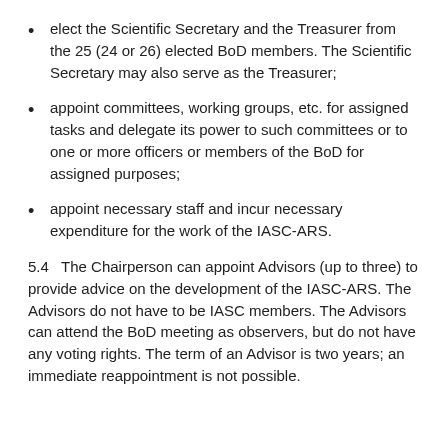elect the Scientific Secretary and the Treasurer from the 25 (24 or 26) elected BoD members. The Scientific Secretary may also serve as the Treasurer;
appoint committees, working groups, etc. for assigned tasks and delegate its power to such committees or to one or more officers or members of the BoD for assigned purposes;
appoint necessary staff and incur necessary expenditure for the work of the IASC-ARS.
5.4  The Chairperson can appoint Advisors (up to three) to provide advice on the development of the IASC-ARS. The Advisors do not have to be IASC members. The Advisors can attend the BoD meeting as observers, but do not have any voting rights. The term of an Advisor is two years; an immediate reappointment is not possible.